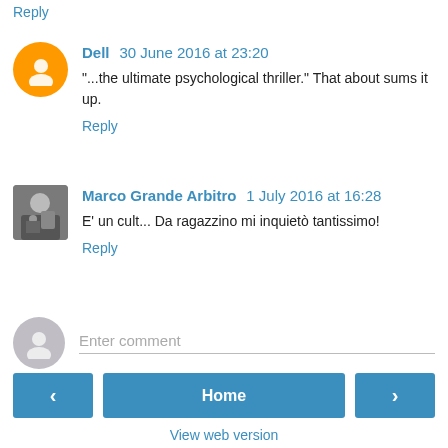Reply
Dell 30 June 2016 at 23:20
"...the ultimate psychological thriller." That about sums it up.
Reply
Marco Grande Arbitro 1 July 2016 at 16:28
E' un cult... Da ragazzino mi inquietò tantissimo!
Reply
Enter comment
Home
View web version